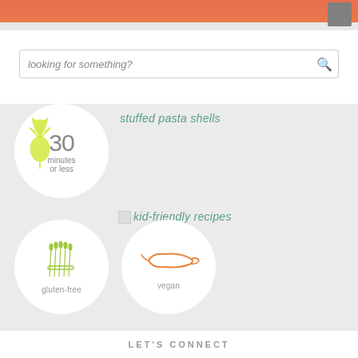[Figure (photo): Top portion of a food photo showing stuffed red peppers on a white plate, partially visible]
looking for something?
stuffed pasta shells
[Figure (illustration): Circle icon with yellow radish illustration and text '30 minutes or less']
kid-friendly recipes
[Figure (illustration): Circle icon with asparagus bundle illustration labeled 'gluten-free']
[Figure (illustration): Circle icon with chili pepper illustration labeled 'vegan']
LET'S CONNECT